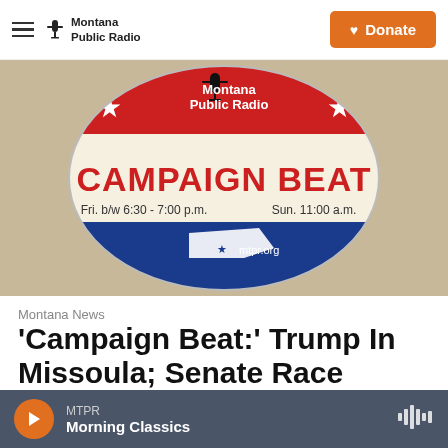Montana Public Radio | Donate
[Figure (illustration): Campaign Beat circular logo for Montana Public Radio. Red, white, and blue circular badge with stars. Text reads 'Montana Public Radio', 'CAMPAIGN BEAT', 'Fri. b/w 6:30 - 7:00 p.m.', 'Sun. 11:00 a.m.', and 'mtpr.org' with a Montana state outline.]
Montana News
'Campaign Beat:' Trump In Missoula; Senate Race Spending; Tightening House Race
MTPR — Morning Classics